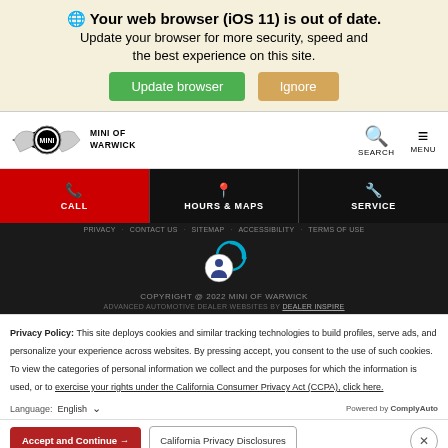Your web browser (iOS 11) is out of date. Update your browser for more security, speed and the best experience on this site. [Update browser] [Ignore]
[Figure (logo): MINI of Warwick logo with MINI circular emblem and wings, and search/menu icons]
[Figure (screenshot): Navigation action bar with CALL (red), HOURS & MAPS (black), SERVICE (black) buttons]
PRIVACY   CONTACT US   SITEMAP   ACCESSIBILITY   TERMS OF USE
[Figure (logo): Accessibility icon with circular arrow overlay]
COPYRIGHT @ 2022 MINI OF WARWICK
ADVANCED AUTOMOTIVE DEALER WEBSITES BY DEALER INSPIRE
Privacy Policy: This site deploys cookies and similar tracking technologies to build profiles, serve ads, and personalize your experience across websites. By pressing accept, you consent to the use of such cookies. To view the categories of personal information we collect and the purposes for which the information is used, or to exercise your rights under the California Consumer Privacy Act (CCPA), click here.
Language: English ∨   Powered by ComplyAuto
Accept and Continue →   California Privacy Disclosures   ×